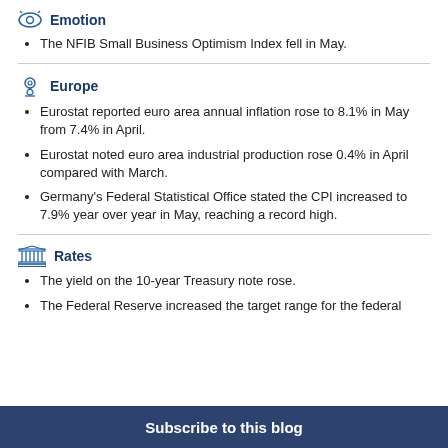Emotion
The NFIB Small Business Optimism Index fell in May.
Europe
Eurostat reported euro area annual inflation rose to 8.1% in May from 7.4% in April.
Eurostat noted euro area industrial production rose 0.4% in April compared with March.
Germany's Federal Statistical Office stated the CPI increased to 7.9% year over year in May, reaching a record high.
Rates
The yield on the 10-year Treasury note rose.
The Federal Reserve increased the target range for the federal
Subscribe to this blog